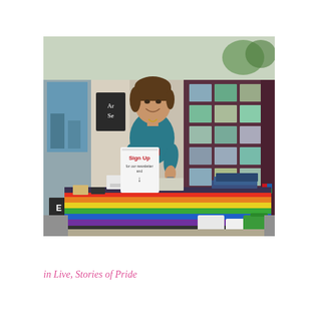[Figure (photo): A smiling woman in a teal dress stands behind a table covered with a rainbow pride flag tablecloth. On the table are papers, a clipboard, and booklets. In front of her is a 'Sign Up' sign. Behind her is the exterior of a real estate office with property listing photos in the window.]
in Live, Stories of Pride